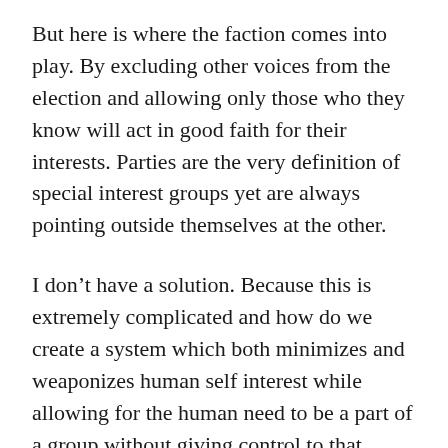But here is where the faction comes into play. By excluding other voices from the election and allowing only those who they know will act in good faith for their interests. Parties are the very definition of special interest groups yet are always pointing outside themselves at the other.
I don't have a solution. Because this is extremely complicated and how do we create a system which both minimizes and weaponizes human self interest while allowing for the human need to be a part of a group without giving control to that group while giving enough power to make decisions which will effect other people.
Democracy is fucked up. But it must be ruthlessly preserved even against itself. And it must be brutally examined. Are your ideas for all of the people or only for